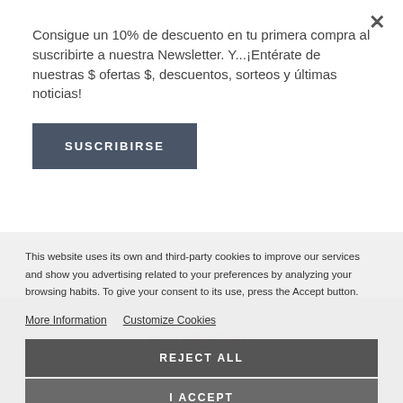Consigue un 10% de descuento en tu primera compra al suscribirte a nuestra Newsletter. Y...¡Entérate de nuestras $ ofertas $, descuentos, sorteos y últimas noticias!
SUSCRIBIRSE
QUICK VIEW
This website uses its own and third-party cookies to improve our services and show you advertising related to your preferences by analyzing your browsing habits. To give your consent to its use, press the Accept button.
More Information
Customize Cookies
REJECT ALL
I ACCEPT
Aviso IMPORTANTE
Entregaremos todos los pedidos a partir del 22 de agosto